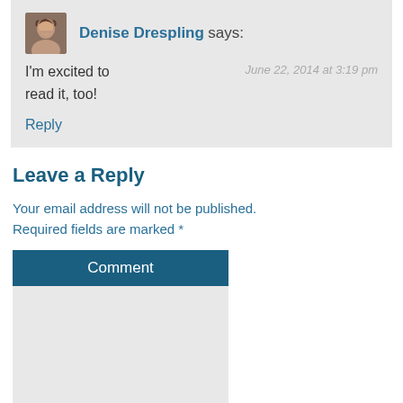Denise Drespling says:
June 22, 2014 at 3:19 pm
I'm excited to read it, too!
Reply
Leave a Reply
Your email address will not be published. Required fields are marked *
Comment